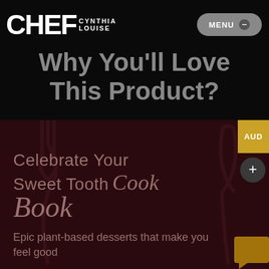CHEF CYNTHIA LOUISE
Why You'll Love This Product?
Celebrate Your Sweet Tooth Cook Book
Epic plant-based desserts that make you feel good